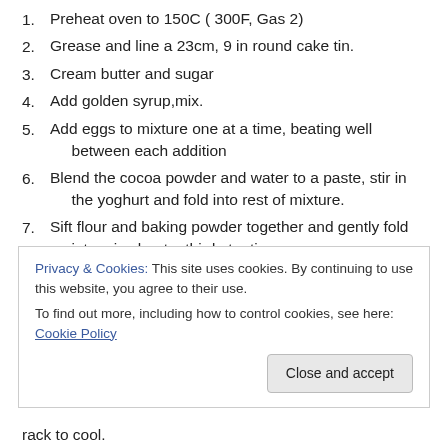1. Preheat oven to 150C ( 300F, Gas 2)
2. Grease and line a 23cm, 9 in round cake tin.
3. Cream butter and sugar
4. Add golden syrup,mix.
5. Add eggs to mixture one at a time, beating well between each addition
6. Blend the cocoa powder and water to a paste, stir in the yoghurt and fold into rest of mixture.
7. Sift flour and baking powder together and gently fold into mix about a third at a time.
8. [partially visible]
Privacy & Cookies: This site uses cookies. By continuing to use this website, you agree to their use. To find out more, including how to control cookies, see here: Cookie Policy
rack to cool.